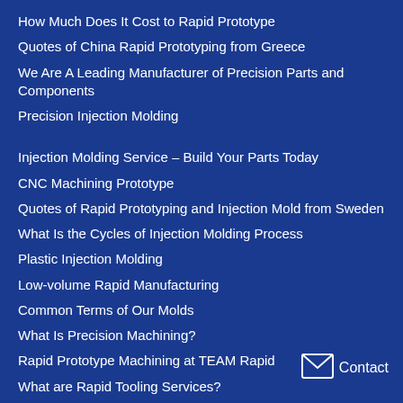How Much Does It Cost to Rapid Prototype
Quotes of China Rapid Prototyping from Greece
We Are A Leading Manufacturer of Precision Parts and Components
Precision Injection Molding
Injection Molding Service – Build Your Parts Today
CNC Machining Prototype
Quotes of Rapid Prototyping and Injection Mold from Sweden
What Is the Cycles of Injection Molding Process
Plastic Injection Molding
Low-volume Rapid Manufacturing
Common Terms of Our Molds
What Is Precision Machining?
Rapid Prototype Machining at TEAM Rapid
What are Rapid Tooling Services?
[Figure (infographic): Envelope icon with 'Contact' label in white text on blue background, positioned bottom right]